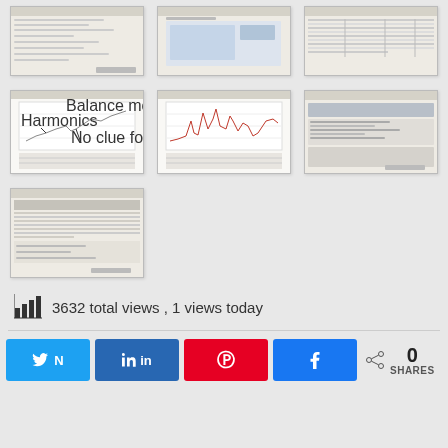[Figure (screenshot): Thumbnail of a software dialog/form screenshot - row 1, col 1]
[Figure (screenshot): Thumbnail of a software screenshot with image/map - row 1, col 2]
[Figure (screenshot): Thumbnail of a table/data listing screenshot - row 1, col 3]
[Figure (screenshot): Thumbnail of a line chart with annotations (Balance mode, Harmonics, No clue for this area) - row 2, col 1]
[Figure (screenshot): Thumbnail of a line chart with multiple peaks and red line - row 2, col 2]
[Figure (screenshot): Thumbnail of a software settings/dialog screenshot - row 2, col 3]
[Figure (screenshot): Thumbnail of a software data table/listing screenshot - row 3, col 1]
3632 total views , 1 views today
N Twitter  in LinkedIn  Pinterest  f Facebook  0 SHARES